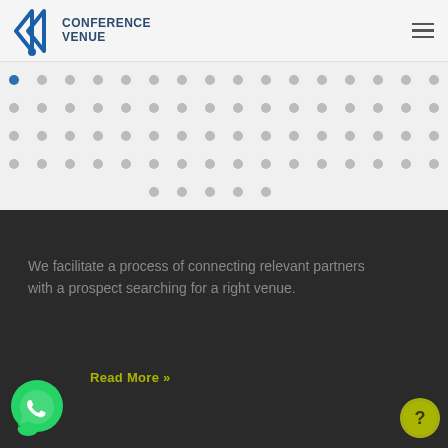Conference Venue
[Figure (illustration): Dot pattern grid on light gray background, arranged in 5 rows with varying numbers of dots]
We facilitate a process of connecting relevant partners with a prospect searching for a right venue.
Read More »
[Figure (logo): WhatsApp green circular chat bubble icon with phone handset]
[Figure (other): Circular yellow-green help/question mark button]